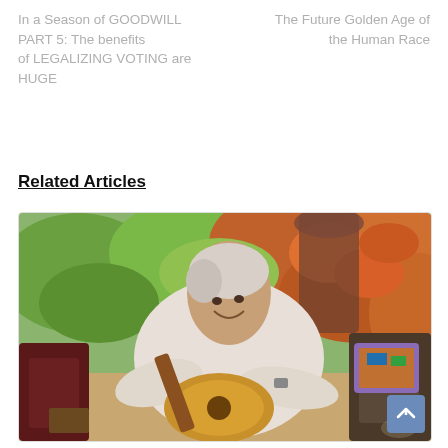In a Season of GOODWILL  PART 5: The benefits of LEGALIZING VOTING are HUGE
The Future Golden Age of the Human Race
Related Articles
[Figure (photo): An older man with white/grey hair smiling and holding an acoustic guitar, sitting outdoors in a lush garden with orange and green foliage in the background. He is wearing a white long-sleeve shirt.]